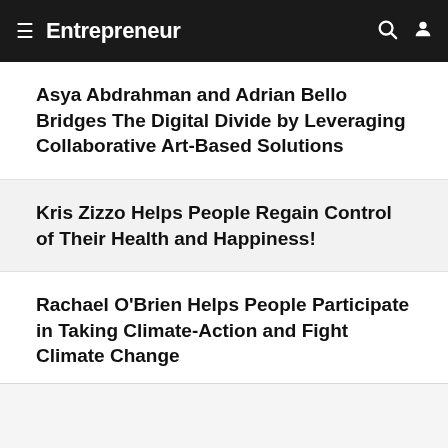Entrepreneur
Asya Abdrahman and Adrian Bello Bridges The Digital Divide by Leveraging Collaborative Art-Based Solutions
Kris Zizzo Helps People Regain Control of Their Health and Happiness!
Rachael O'Brien Helps People Participate in Taking Climate-Action and Fight Climate Change